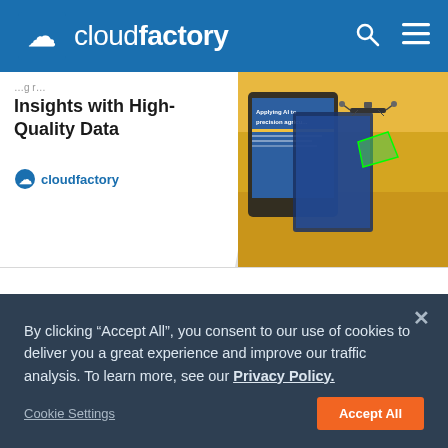cloudfactory
[Figure (screenshot): Promotional banner showing 'Insights with High-Quality Data' title with CloudFactory logo on left, and tablet/book mockup with drone over agriculture field on right]
Tired of Data Prep? How to Scale Precision Agriculture Insights with High-Quality Data
By clicking “Accept All”, you consent to our use of cookies to deliver you a great experience and improve our traffic analysis. To learn more, see our Privacy Policy.
Cookie Settings   Accept All